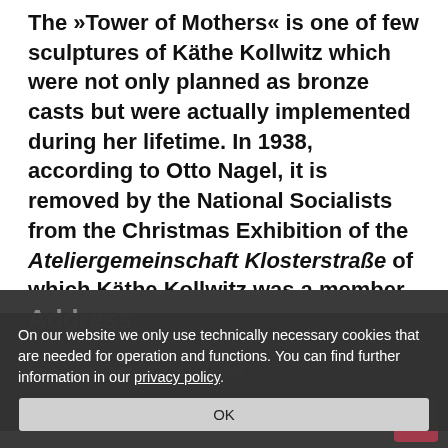The »Tower of Mothers« is one of few sculptures of Käthe Kollwitz which were not only planned as bronze casts but were actually implemented during her lifetime. In 1938, according to Otto Nagel, it is removed by the National Socialists from the Christmas Exhibition of the Ateliergemeinschaft Klosterstraße of which Käthe Kollwitz was a member from 1934 until 1940.
Address
Käthe Kollwitz Museum Köln
Neumarkt 18–24 / Neumarkt Passage
50667 Köln
On our website we only use technically necessary cookies that are needed for operation and functions. You can find further information in our privacy policy.